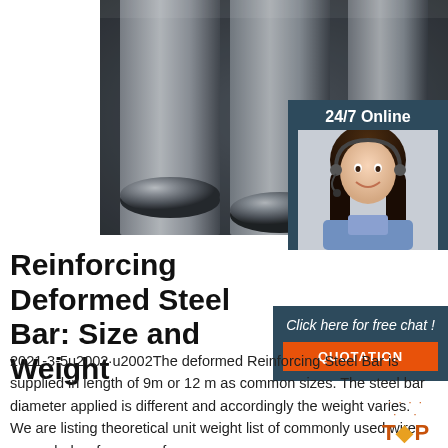[Figure (photo): Three large cylindrical steel reinforcing bars (rebar) photographed close-up against a dark background, showing metallic grey surface texture]
[Figure (photo): Customer service agent, a young woman wearing a headset, smiling, with '24/7 Online' text above her in a dark blue-grey box]
Reinforcing Deformed Steel Bar: Size and Weight
[Figure (infographic): Dark blue-grey box with 'Click here for free chat !' text and orange QUOTATION button]
2021-3-5u2002·u2002The deformed Reinforcing Steel Bar is supplied in length of 9m or 12 m as common sizes. The steel bar diameter applied is different and accordingly the weight varies. We are listing theoretical unit weight list of commonly used wire gauge below for your reference